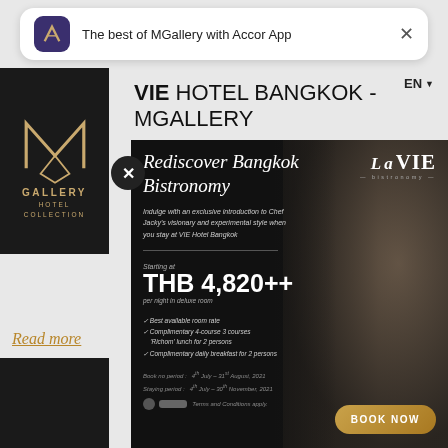The best of MGallery with Accor App
EN
VIE HOTEL BANGKOK - MGALLERY
[Figure (screenshot): MGallery Hotel Collection logo in black box with gold M symbol and text]
Read more
[Figure (photo): Promotional card for VIE Hotel Bangkok - Rediscover Bangkok Bistronomy. Chef Jacky visionary and experimental style. Starting at THB 4,820++ per night in deluxe room. Book now button. La VIE Bistronomy branding.]
Rediscover Bangkok Bistronomy
Indulge with an exclusive introduction to Chef Jacky's visionary and experimental style when you stay at VIE Hotel Bangkok
THB 4,820++
Starting at
per night in deluxe room
Best available room rate
Complimentary 4-course 'Richom' lunch for 2 persons
Complimentary daily breakfast for 2 persons
Book no period: 4th July – 31st August, 2021
Staying period: 4th July – 30th November, 2021
Terms and Conditions apply.
BOOK NOW